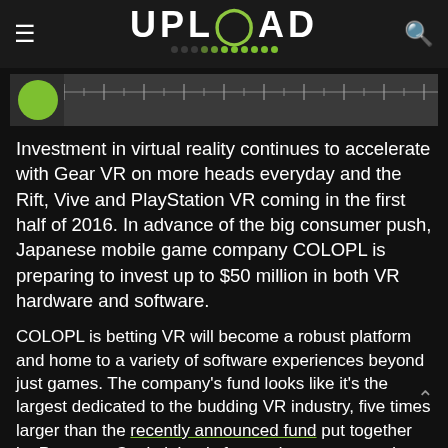UPLOAD
[Figure (screenshot): Partial image of an article with a green circle icon and gray ruler/scale bar on dark background]
Investment in virtual reality continues to accelerate with Gear VR on more heads everyday and the Rift, Vive and PlayStation VR coming in the first half of 2016. In advance of the big consumer push, Japanese mobile game company COLOPL is preparing to invest up to $50 million in both VR hardware and software.
COLOPL is betting VR will become a robust platform and home to a variety of software experiences beyond just games. The company's fund looks like it's the largest dedicated to the budding VR industry, five times larger than the recently announced fund put together by Presence Capital that is focused on augmented reality and virtual reality technology.
In a prepared statement COLOPL President and CEO